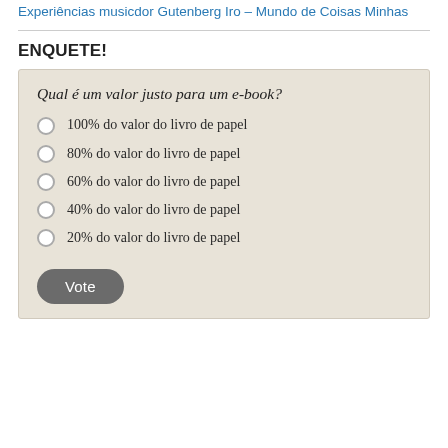Pingback: Experiências musicdor Gutenberg Iro – Mundo de Coisas Minhas
ENQUETE!
Qual é um valor justo para um e-book?
100% do valor do livro de papel
80% do valor do livro de papel
60% do valor do livro de papel
40% do valor do livro de papel
20% do valor do livro de papel